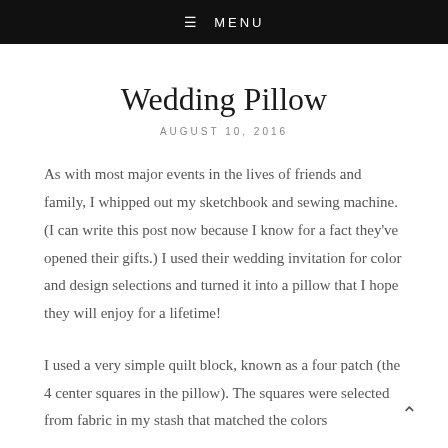≡ MENU
Wedding Pillow
AUGUST 10, 2016
As with most major events in the lives of friends and family, I whipped out my sketchbook and sewing machine. (I can write this post now because I know for a fact they've opened their gifts.) I used their wedding invitation for color and design selections and turned it into a pillow that I hope they will enjoy for a lifetime!
I used a very simple quilt block, known as a four patch (the 4 center squares in the pillow). The squares were selected from fabric in my stash that matched the colors for the invitation. The most beautiful thing about...